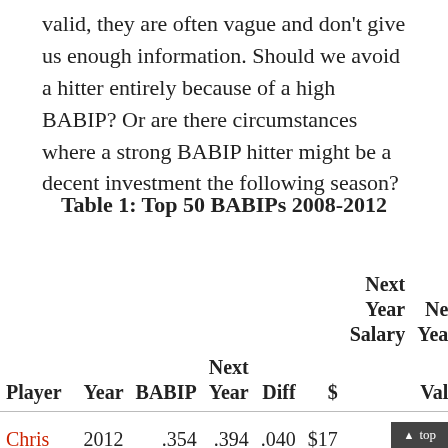valid, they are often vague and don't give us enough information. Should we avoid a hitter entirely because of a high BABIP? Or are there circumstances where a strong BABIP hitter might be a decent investment the following season?
Table 1: Top 50 BABIPs 2008-2012
| Player | Year | BABIP | Next Year | Diff | $ | Next Year Salary | Next Year Value |
| --- | --- | --- | --- | --- | --- | --- | --- |
| Chris Johnson | 2012 | .354 | .394 | .040 | $17 | 7 | $ |